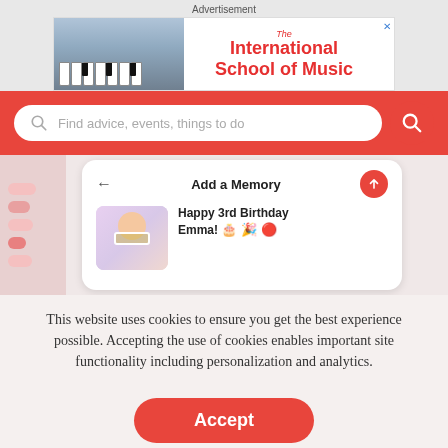Advertisement
[Figure (screenshot): Advertisement banner for The International School of Music, showing a girl playing piano on the left and red text on the right.]
[Figure (screenshot): Search bar with placeholder text 'Find advice, events, things to do' on a red background with a red search button.]
[Figure (screenshot): App screenshot showing 'Add a Memory' screen with a photo of a child wearing party glasses and text 'Happy 3rd Birthday Emma!' with emojis.]
This website uses cookies to ensure you get the best experience possible. Accepting the use of cookies enables important site functionality including personalization and analytics.
Accept
Decline